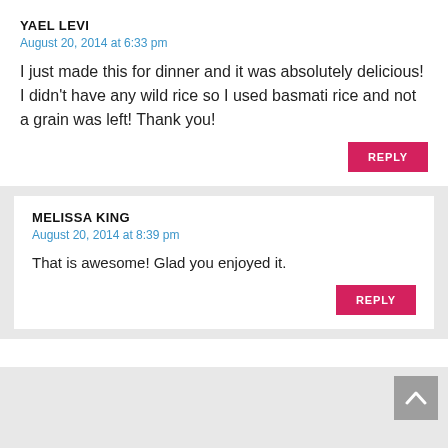YAEL LEVI
August 20, 2014 at 6:33 pm
I just made this for dinner and it was absolutely delicious! I didn't have any wild rice so I used basmati rice and not a grain was left! Thank you!
REPLY
MELISSA KING
August 20, 2014 at 8:39 pm
That is awesome! Glad you enjoyed it.
REPLY